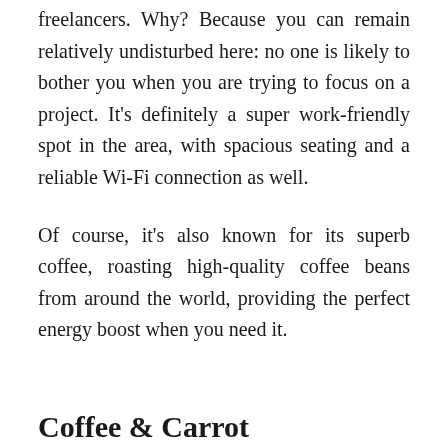freelancers. Why? Because you can remain relatively undisturbed here: no one is likely to bother you when you are trying to focus on a project. It's definitely a super work-friendly spot in the area, with spacious seating and a reliable Wi-Fi connection as well.
Of course, it's also known for its superb coffee, roasting high-quality coffee beans from around the world, providing the perfect energy boost when you need it.
Coffee & Carrot